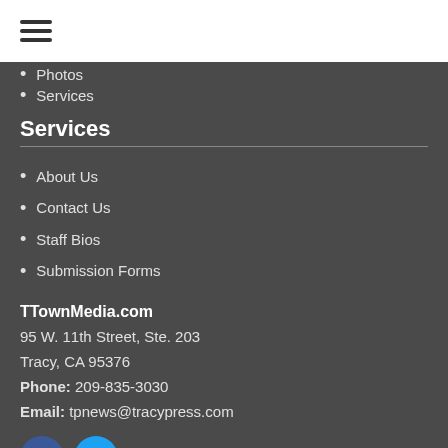[Figure (other): Hamburger menu icon (three horizontal lines)]
Photos
Services
Services
About Us
Contact Us
Staff Bios
Submission Forms
TTownMedia.com
95 W. 11th Street, Ste. 203
Tracy, CA 95376
Phone: 209-835-3030
Email: tpnews@tracypress.com
[Figure (other): Facebook and Twitter social media icons]